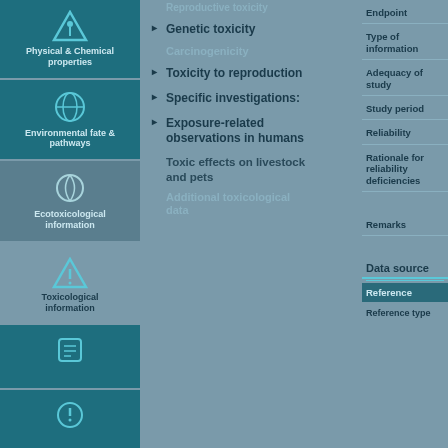[Figure (infographic): Left navigation column with icons and labels for Physical & Chemical properties, Environmental fate & pathways, Ecotoxicological information, Toxicological information, and additional dark teal boxes below]
Genetic toxicity
Carcinogenicity
Toxicity to reproduction
Specific investigations
Exposure-related observations in humans
Toxic effects on livestock and pets
Additional toxicological data
Endpoint
Type of information
Adequacy of study
Study period
Reliability
Rationale for reliability deficiencies
Remarks
Data source
Reference
Reference type